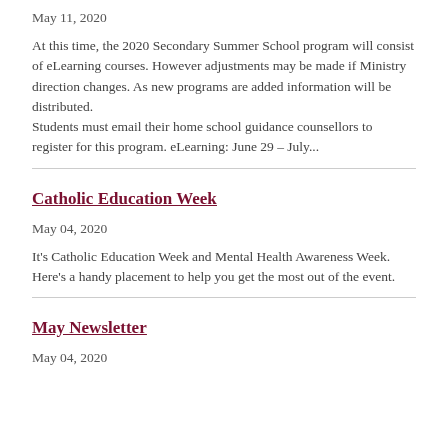May 11, 2020
At this time, the 2020 Secondary Summer School program will consist of eLearning courses.  However adjustments may be made if Ministry direction changes. As new programs are added information will be distributed.
Students must email their home school guidance counsellors to register for this program.  eLearning: June 29 – July...
Catholic Education Week
May 04, 2020
It's Catholic Education Week and Mental Health Awareness Week. Here's a handy placement to help you get the most out of the event.
May Newsletter
May 04, 2020